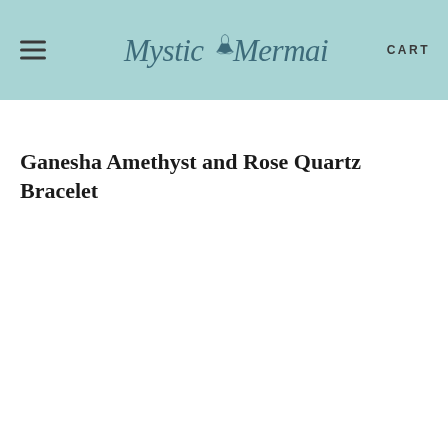Mystic Mermaid  CART
Ganesha Amethyst and Rose Quartz Bracelet